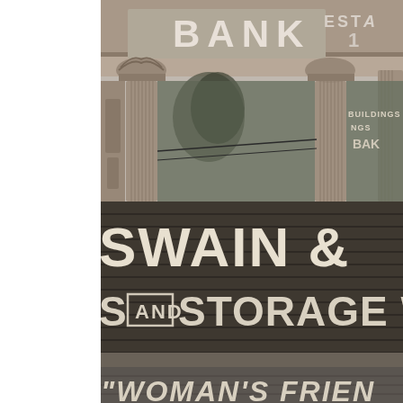[Figure (photo): Black and white photograph of an ornate bank building facade, showing classical columns with Corinthian capitals, and signage reading 'BANK' and 'ESTA' (partially visible, likely 'ESTABLISHED') with '1' visible. Reflections in the window show 'BUILDINGS BANK' text.]
[Figure (photo): Black and white photograph of a brick building wall with large painted signs reading 'SWAIN &' on the top line, 'S AND STORAGE WAR' (partially visible, likely 'STORAGE WAREHOUSE') on the second line, and '"WOMAN'S FRIEN' (partially visible, likely 'WOMAN'S FRIEND') on a lower section.]